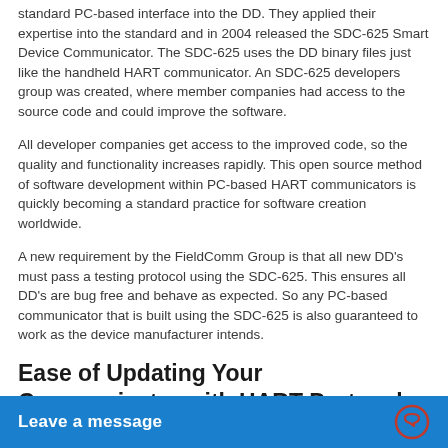standard PC-based interface into the DD. They applied their expertise into the standard and in 2004 released the SDC-625 Smart Device Communicator. The SDC-625 uses the DD binary files just like the handheld HART communicator. An SDC-625 developers group was created, where member companies had access to the source code and could improve the software.
All developer companies get access to the improved code, so the quality and functionality increases rapidly. This open source method of software development within PC-based HART communicators is quickly becoming a standard practice for software creation worldwide.
A new requirement by the FieldComm Group is that all new DD's must pass a testing protocol using the SDC-625. This ensures all DD's are bug free and behave as expected. So any PC-based communicator that is built using the SDC-625 is also guaranteed to work as the device manufacturer intends.
Ease of Updating Your Communicator with HART Protocol
Once you have established that the candidate PC-based HART communicator is DD based, you can look deeper into other cri... The DD Library is up... FieldComm Group...